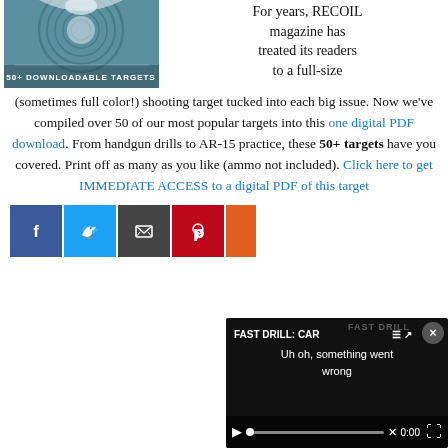[Figure (illustration): Book cover showing a teal shooting target with the text '50+ DOWNLOADABLE TARGETS' at the bottom, circular target rings visible]
For years, RECOIL magazine has treated its readers to a full-size (sometimes full color!) shooting target tucked into each big issue. Now we've compiled over 50 of our most popular targets into this one digital PDF download. From handgun drills to AR-15 practice, these 50+ targets have you covered. Print off as many as you like (ammo not included). Click here to get IMMEDIATE ACCESS to a digital PDF of this target
[Figure (screenshot): Social media sharing buttons: Facebook (blue), Twitter (blue), email/envelope (dark gray), Pinterest (red), and a partially visible button. A video overlay in the bottom right shows 'FAST DRILL: CAR...' with error message 'Uh oh, something went wrong' and video controls at 0:00.]